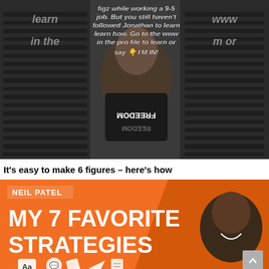[Figure (screenshot): TikTok-style vertical video screenshot showing a man in a 'FREEDOM' t-shirt with overlaid white italic text: 'figz while working a 9-5 job. But you still haven't followed Jonathan to learn learn how. Go to the www in the pro file to learn or say 👇 I'M IN!' with partially visible text 'learn', 'in the', 'www', 'um or' on sides]
It's easy to make 6 figures – here's how
[Figure (screenshot): Neil Patel YouTube thumbnail with orange background, text 'NEIL PATEL' and 'MY 7 FAVORITE STRATEGIES' in large bold white/black letters, Neil Patel smiling, icons at bottom (Aa, chat bubble, paper plane, document)]